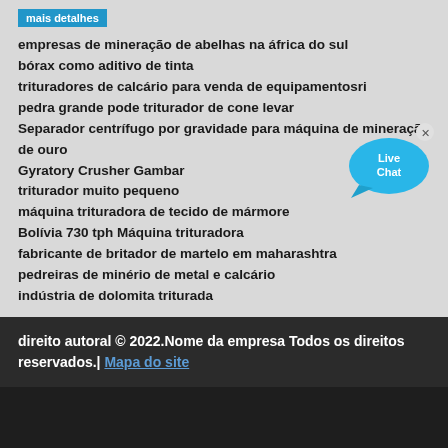[Figure (other): Blue 'mais detalhes' button at top]
empresas de mineração de abelhas na áfrica do sul
bórax como aditivo de tinta
trituradores de calcário para venda de equipamentosri
pedra grande pode triturador de cone levar
Separador centrífugo por gravidade para máquina de mineração de ouro
Gyratory Crusher Gambar
triturador muito pequeno
máquina trituradora de tecido de mármore
Bolívia 730 tph Máquina trituradora
fabricante de britador de martelo em maharashtra
pedreiras de minério de metal e calcário
indústria de dolomita triturada
[Figure (illustration): Live Chat bubble icon]
direito autoral © 2022.Nome da empresa Todos os direitos reservados.| Mapa do site
[Figure (other): Social media icons: Twitter, Facebook, YouTube, Google]